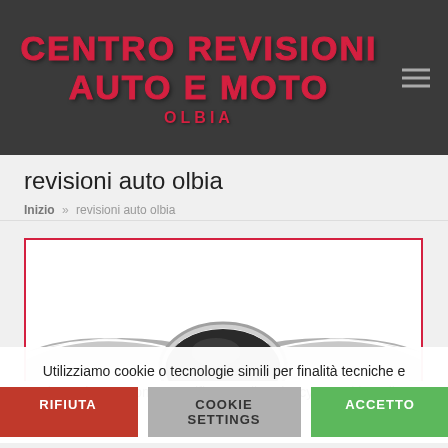CENTRO REVISIONI AUTO E MOTO OLBIA
revisioni auto olbia
Inizio » revisioni auto olbia
[Figure (photo): Partial view of a car emblem/logo (chrome wing-style badge) inside a red-bordered white box]
Utilizziamo cookie o tecnologie simili per finalità tecniche e misurazione e come specificato nella privacy e cookie policy.
RIFIUTA | COOKIE SETTINGS | ACCETTO